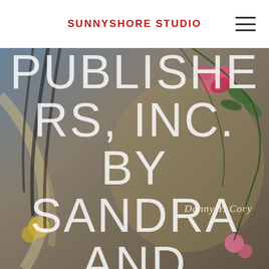SUNNYSHORE STUDIO
[Figure (illustration): Book cover illustration with floral motifs, figures, and decorative botanical elements. Large overlay text reads PUBLISHERS, INC. BY SANDRA AND ROBERT in thin white uppercase letters. Author name Danny Y. Cory visible in italic script on the right side.]
PUBLISHERS, INC. BY SANDRA AND ROBERT